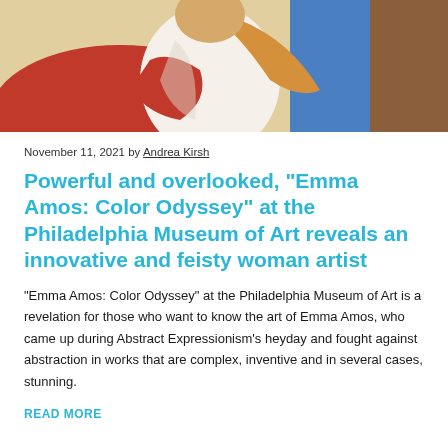[Figure (photo): Colorful painting featuring figures with vibrant reds, blues, oranges, and browns — likely an Emma Amos artwork shown partially cropped at the top of the article.]
November 11, 2021 by Andrea Kirsh
Powerful and overlooked, “Emma Amos: Color Odyssey” at the Philadelphia Museum of Art reveals an innovative and feisty woman artist
“Emma Amos: Color Odyssey” at the Philadelphia Museum of Art is a revelation for those who want to know the art of Emma Amos, who came up during Abstract Expressionism’s heyday and fought against abstraction in works that are complex, inventive and in several cases, stunning.
READ MORE